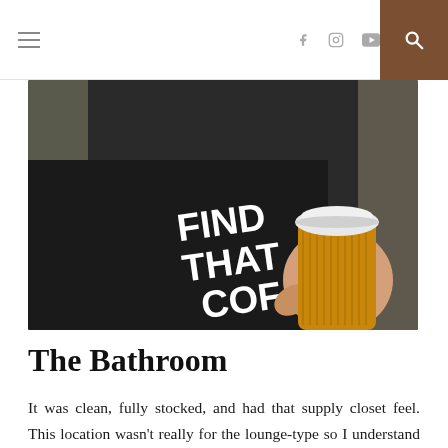Navigation header with hamburger menu, social icons (Facebook, Instagram, YouTube), and search button
[Figure (photo): Person wearing a dark navy/black t-shirt with white text reading 'FIND THAT COF...' (coffee), holding a takeaway coffee cup with a white lid and corrugated paper sleeve]
The Bathroom
It was clean, fully stocked, and had that supply closet feel. This location wasn't really for the lounge-type so I understand that the bathroom wasn't going to be too special. No complaints really and I enjoy the painting above the toilet that I got to